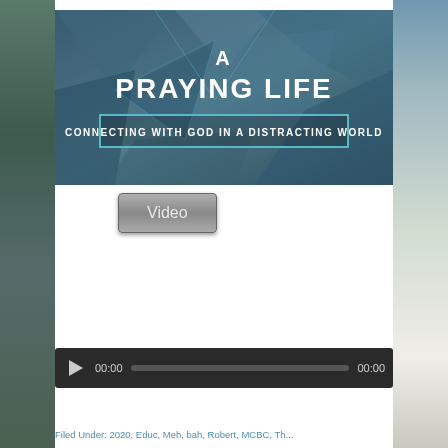[Figure (illustration): Thumbnail image for 'A PRAYING LIFE - CONNECTING WITH GOD IN A DISTRACTING WORLD'. Blue-grey geometric polygon background with white bold text.]
Video
[Figure (other): Audio player bar showing play button, timecode 00:00, progress bar, and end time 00:00 on dark background]
Filed Under: 2020, Educ, Meh, bah, Robert, MCBC, Th...